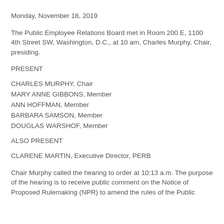Monday, November 18, 2019
The Public Employee Relations Board met in Room 200 E, 1100 4th Street SW, Washington, D.C., at 10 am, Charles Murphy, Chair, presiding.
PRESENT
CHARLES MURPHY, Chair
MARY ANNE GIBBONS, Member
ANN HOFFMAN, Member
BARBARA SAMSON, Member
DOUGLAS WARSHOF, Member
ALSO PRESENT
CLARENE MARTIN, Executive Director, PERB
Chair Murphy called the hearing to order at 10:13 a.m. The purpose of the hearing is to receive public comment on the Notice of Proposed Rulemaking (NPR) to amend the rules of the Public